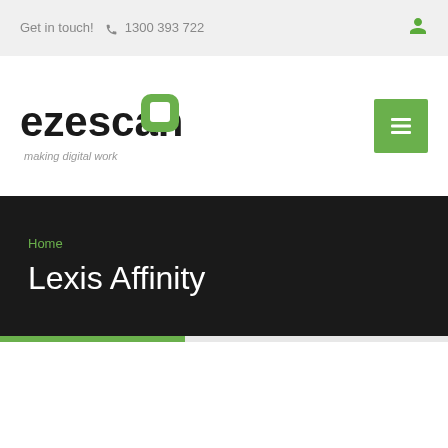Get in touch!  1300 393 722
[Figure (logo): ezescan logo with green rounded square icon and tagline 'making digital work']
Home
Lexis Affinity